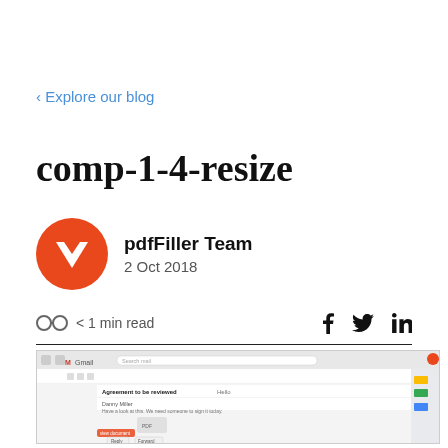< Explore our blog
comp-1-4-resize
pdfFiller Team
2 Oct 2018
OO < 1 min read
[Figure (screenshot): Screenshot of Gmail interface showing an email thread with a PDF attachment labeled 'Agreement to be reviewed']